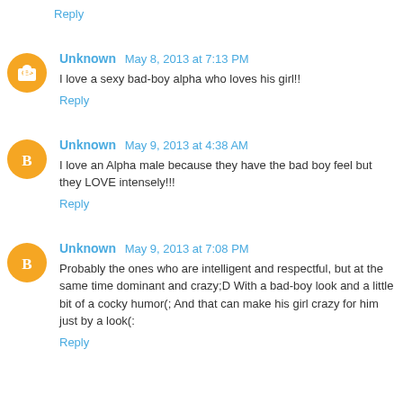Reply
Unknown May 8, 2013 at 7:13 PM
I love a sexy bad-boy alpha who loves his girl!!
Reply
Unknown May 9, 2013 at 4:38 AM
I love an Alpha male because they have the bad boy feel but they LOVE intensely!!!
Reply
Unknown May 9, 2013 at 7:08 PM
Probably the ones who are intelligent and respectful, but at the same time dominant and crazy;D With a bad-boy look and a little bit of a cocky humor(; And that can make his girl crazy for him just by a look(:
Reply